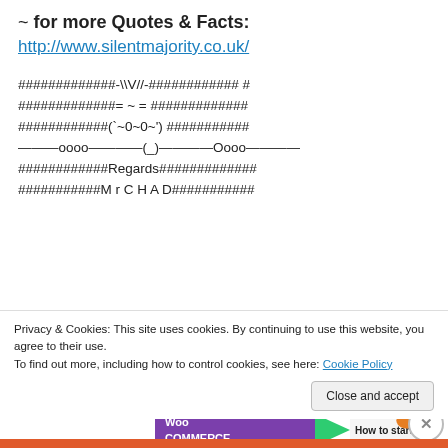~ for more Quotes & Facts:
http://www.silentmajority.co.uk/
#############-\V//-############ #
#############= ~ = #############
############(`~0~0~') ###########
———oooo————(_)————Oooo————
############Regards#############
###########M r C H A D###########
Advertisements
[Figure (screenshot): WooCommerce advertisement banner with purple background, green arrow, and 'How to start selling' text]
Privacy & Cookies: This site uses cookies. By continuing to use this website, you agree to their use.
To find out more, including how to control cookies, see here: Cookie Policy
Close and accept